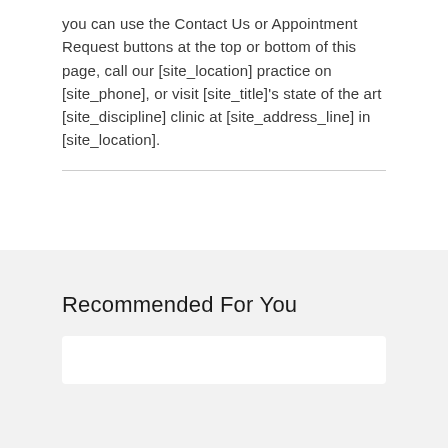you can use the Contact Us or Appointment Request buttons at the top or bottom of this page, call our [site_location] practice on [site_phone], or visit [site_title]'s state of the art [site_discipline] clinic at [site_address_line] in [site_location].
Recommended For You